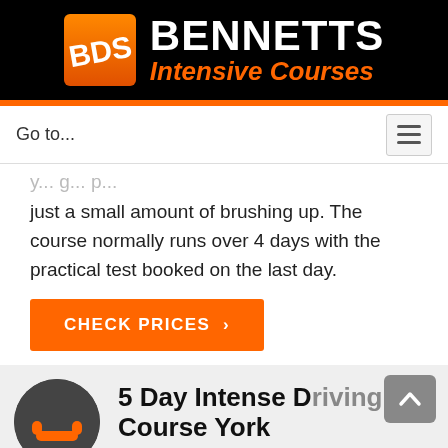[Figure (logo): BDS Bennetts Intensive Courses logo with orange square icon and white/orange text on black background]
Go to...
just a small amount of brushing up. The course normally runs over 4 days with the practical test booked on the last day.
CHECK PRICES >
5 Day Intense Driving Course York